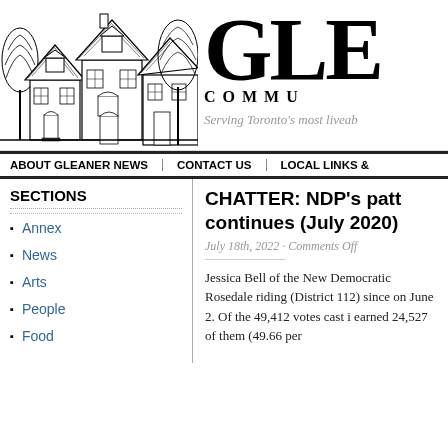[Figure (illustration): Black and white pen-and-ink illustration of Victorian houses with trees]
GLE
COMMU
Serving Toronto's most liveab
ABOUT GLEANER NEWS   CONTACT US   LOCAL LINKS &
SECTIONS
Annex
News
Arts
People
Food
CHATTER: NDP's patt continues (July 2020)
July 18th, 2022 · Comments Off
Jessica Bell of the New Democratic Rosedale riding (District 112) since on June 2. Of the 49,412 votes cast i earned 24,527 of them (49.66 per